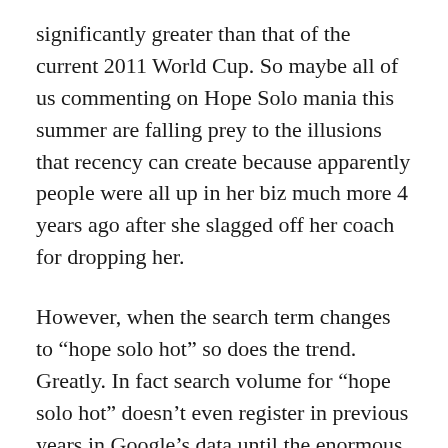significantly greater than that of the current 2011 World Cup. So maybe all of us commenting on Hope Solo mania this summer are falling prey to the illusions that recency can create because apparently people were all up in her biz much more 4 years ago after she slagged off her coach for dropping her.
However, when the search term changes to “hope solo hot” so does the trend. Greatly. In fact search volume for “hope solo hot” doesn’t even register in previous years in Google’s data until the enormous spike in 2011 during the tournament.